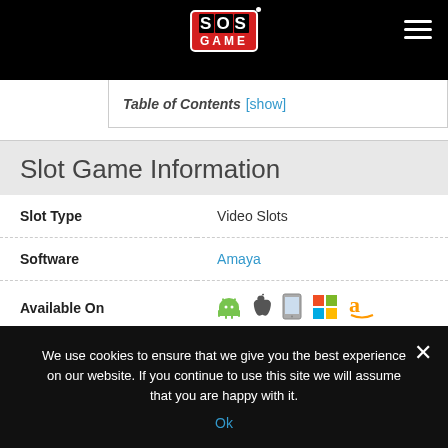SOS GAME
Table of Contents [show]
Slot Game Information
| Field | Value |
| --- | --- |
| Slot Type | Video Slots |
| Software | Amaya |
| Available On | [Android, iOS, Tablet, Windows, Amazon] |
| Release Date | 4 May, 2016 |
| Paylines | 20 |
We use cookies to ensure that we give you the best experience on our website. If you continue to use this site we will assume that you are happy with it.
Ok